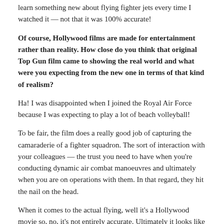learn something new about flying fighter jets every time I watched it — not that it was 100% accurate!
Of course, Hollywood films are made for entertainment rather than reality. How close do you think that original Top Gun film came to showing the real world and what were you expecting from the new one in terms of that kind of realism?
Ha! I was disappointed when I joined the Royal Air Force because I was expecting to play a lot of beach volleyball!
To be fair, the film does a really good job of capturing the camaraderie of a fighter squadron. The sort of interaction with your colleagues — the trust you need to have when you're conducting dynamic air combat manoeuvres and ultimately when you are on operations with them. In that regard, they hit the nail on the head.
When it comes to the actual flying, well it's a Hollywood movie so, no, it's not entirely accurate. Ultimately it looks like a lot of fun and that's what inspired me and many others to pursue a